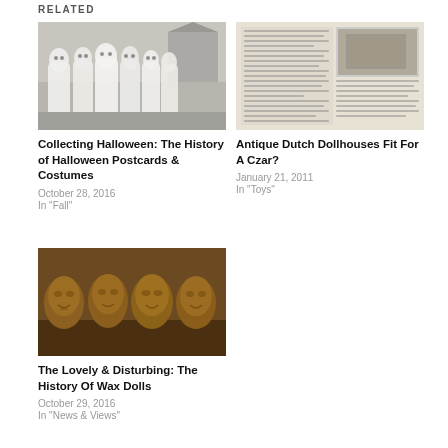RELATED
[Figure (photo): Black and white photo of group of people in white ghost/sheet costumes standing outside a house]
Collecting Halloween: The History of Halloween Postcards & Costumes
October 28, 2016
In "Fall"
[Figure (photo): Newspaper clipping with text columns and a small photograph, related to Antique Dutch Dollhouses]
Antique Dutch Dollhouses Fit For A Czar?
January 21, 2011
In "Toys"
[Figure (photo): Photo of four wax or clay face masks/molds displayed in a row on a wooden surface]
The Lovely & Disturbing: The History Of Wax Dolls
October 29, 2016
In "News & Views"